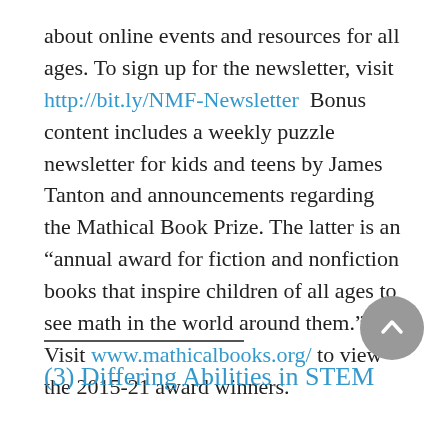about online events and resources for all ages. To sign up for the newsletter, visit http://bit.ly/NMF-Newsletter  Bonus content includes a weekly puzzle newsletter for kids and teens by James Tanton and announcements regarding the Mathical Book Prize. The latter is an “annual award for fiction and nonfiction books that inspire children of all ages to see math in the world around them.” Visit www.mathicalbooks.org/ to view the 2015-21 award winners.
(3) Differing Abilities in STEM